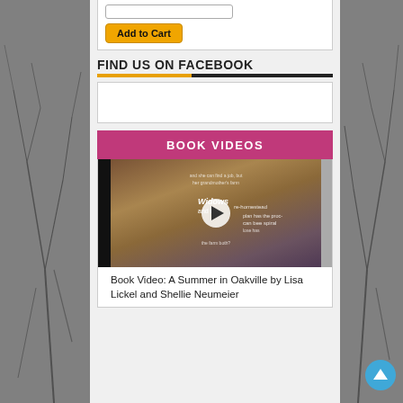[Figure (screenshot): Add to Cart PayPal button at top of page]
FIND US ON FACEBOOK
[Figure (screenshot): Facebook widget placeholder box]
BOOK VIDEOS
[Figure (screenshot): Video thumbnail for Book Video: A Summer in Oakville by Lisa Lickel and Shellie Neumeier with play button]
Book Video: A Summer in Oakville by Lisa Lickel and Shellie Neumeier